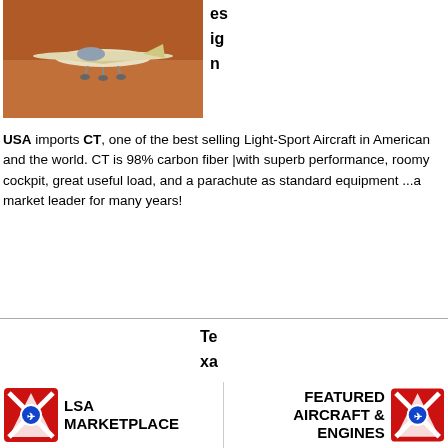[Figure (photo): Light sport aircraft flying low over red/brown terrain]
es
ig
n
USA imports CT, one of the best selling Light-Sport Aircraft in American and the world. CT is 98% carbon fiber |with superb performance, roomy cockpit, great useful load, and a parachute as standard equipment ...a market leader for many years!
Te
xa
s
Ai
[Figure (logo): LSA MARKETPLACE logo with red/white/blue X emblem]
[Figure (logo): FEATURED AIRCRAFT & ENGINES logo with red/white/blue X emblem]